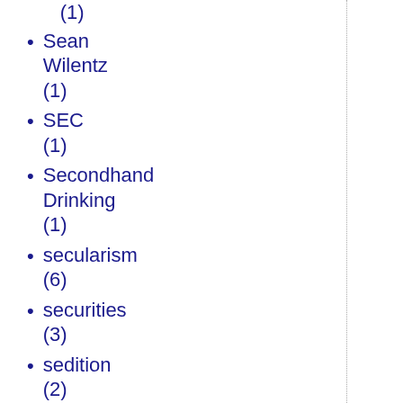(1)
Sean Wilentz (1)
SEC (1)
Secondhand Drinking (1)
secularism (6)
securities (3)
sedition (2)
sedition law (2)
self-defense (1)
self-government (3)
Self-